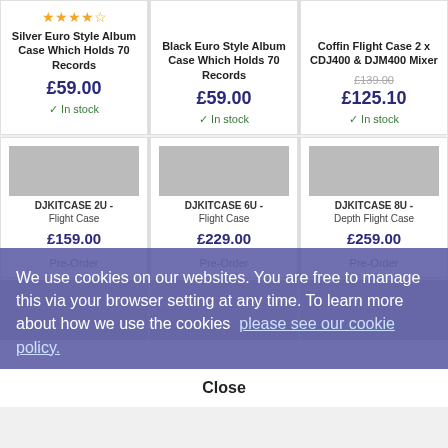[Figure (screenshot): E-commerce product listing page showing flight cases and DJ equipment cases with a cookie consent overlay]
Silver Euro Style Album Case Which Holds 70 Records
£59.00
In stock
Black Euro Style Album Case Which Holds 70 Records
£59.00
In stock
Coffin Flight Case 2 x CDJ400 & DJM400 Mixer
£139.00 (original, strikethrough)
£125.10
In stock
DJKITCASE 2U - Flight Case
£159.00
Pre-Order
DJKITCASE 6U - Flight Case
£229.00
Pre-Order
DJKITCASE 8U - Depth Flight Case
£259.00
Pre-Order
We use cookies on our websites. You are free to manage this via your browser setting at any time. To learn more about how we use the cookies  please see our cookie policy.
Close